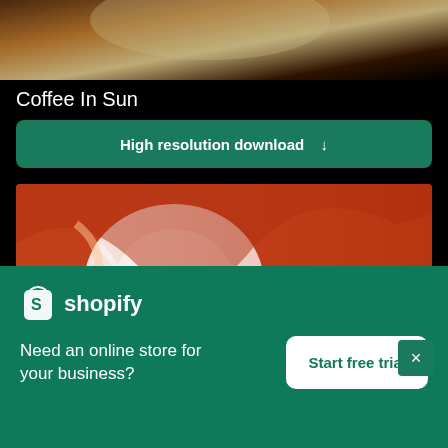[Figure (photo): Partial photo of coffee in sunlight, cropped at top, showing warm golden and dark brown tones]
Coffee In Sun
High resolution download ↓
[Figure (photo): Photo of swirling orange-red canyon rock with bright white light in center, resembling Antelope Canyon]
×
[Figure (logo): Shopify logo — shopping bag icon with 'S' plus the word shopify in white]
Need an online store for your business?
Start free trial